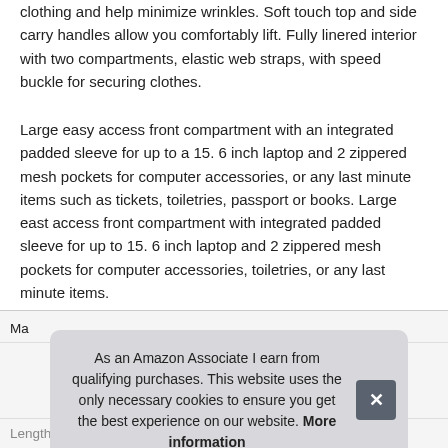clothing and help minimize wrinkles. Soft touch top and side carry handles allow you comfortably lift. Fully lined interior with two compartments, elastic web straps, with speed buckle for securing clothes.
Large easy access front compartment with an integrated padded sleeve for up to a 15. 6 inch laptop and 2 zippered mesh pockets for computer accessories, or any last minute items such as tickets, toiletries, passport or books. Large east access front compartment with integrated padded sleeve for up to 15. 6 inch laptop and 2 zippered mesh pockets for computer accessories, toiletries, or any last minute items.
| Ma... |  |
| Length | 19 inches |
As an Amazon Associate I earn from qualifying purchases. This website uses the only necessary cookies to ensure you get the best experience on our website. More information